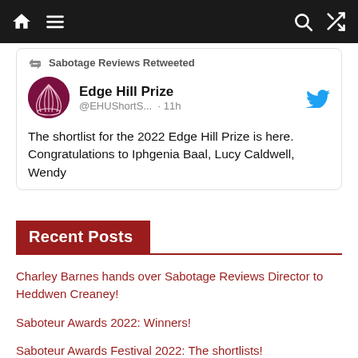[Navigation bar with home, menu, search, shuffle icons]
[Figure (screenshot): Tweet card: Sabotage Reviews Retweeted - Edge Hill Prize @EHUShortS... · 11h - The shortlist for the 2022 Edge Hill Prize is here. Congratulations to Iphgenia Baal, Lucy Caldwell, Wendy...]
Recent Posts
Charley Barnes hands over Sabotage Reviews Director to Heddwen Creaney!
Saboteur Awards 2022: Winners!
Saboteur Awards Festival 2022: The shortlists!
Saboteur Awards Festival 2022: Votes are OPEN and ticket sales are LIVE!